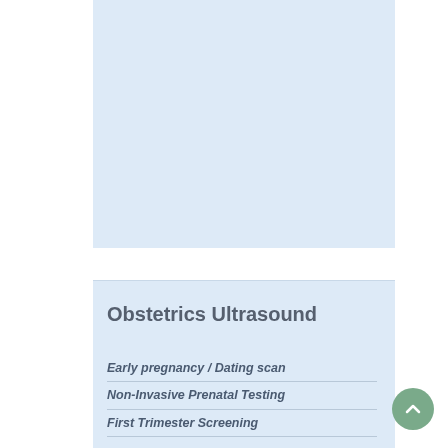[Figure (other): Light blue rectangular placeholder image block at the top of the page]
Obstetrics Ultrasound
Early pregnancy / Dating scan
Non-Invasive Prenatal Testing
First Trimester Screening